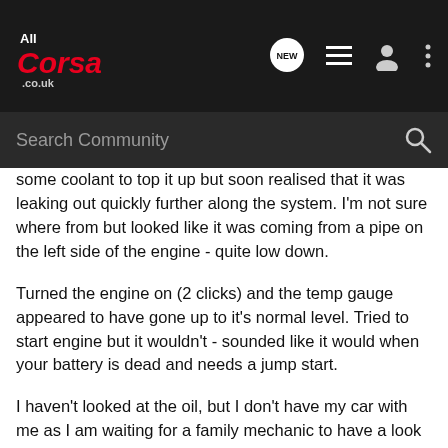AllCorsa.co.uk — NEW (chat icon, list icon, user icon, more icon)
Search Community
some coolant to top it up but soon realised that it was leaking out quickly further along the system. I'm not sure where from but looked like it was coming from a pipe on the left side of the engine - quite low down.
Turned the engine on (2 clicks) and the temp gauge appeared to have gone up to it's normal level. Tried to start engine but it wouldn't - sounded like it would when your battery is dead and needs a jump start.
I haven't looked at the oil, but I don't have my car with me as I am waiting for a family mechanic to have a look this afternoon. But any thoughts whilst i'm waiting for him to check it over?
Thank in advance, I will try to give more into if I can if needed!